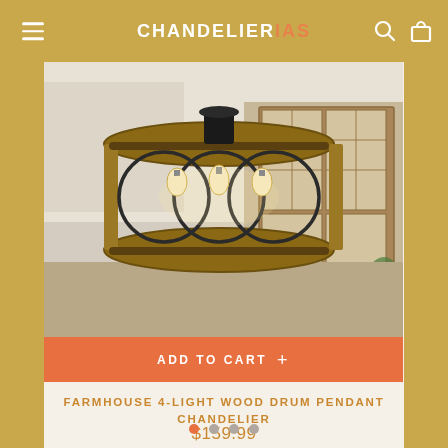CHANDELIER IAS
[Figure (photo): Farmhouse 4-light wood drum pendant chandelier with circular metal frame and warm Edison bulbs, shown in a room with French doors and wood trim]
ADD TO CART +
FARMHOUSE 4-LIGHT WOOD DRUM PENDANT CHANDELIER
$159.99